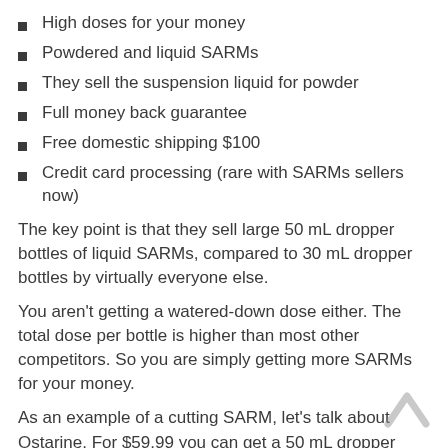High doses for your money
Powdered and liquid SARMs
They sell the suspension liquid for powder
Full money back guarantee
Free domestic shipping $100
Credit card processing (rare with SARMs sellers now)
The key point is that they sell large 50 mL dropper bottles of liquid SARMs, compared to 30 mL dropper bottles by virtually everyone else.
You aren't getting a watered-down dose either. The total dose per bottle is higher than most other competitors. So you are simply getting more SARMs for your money.
As an example of a cutting SARM, let's talk about Ostarine. For $59.99 you can get a 50 mL dropper bottle, which is dosed at 25 mg/ml